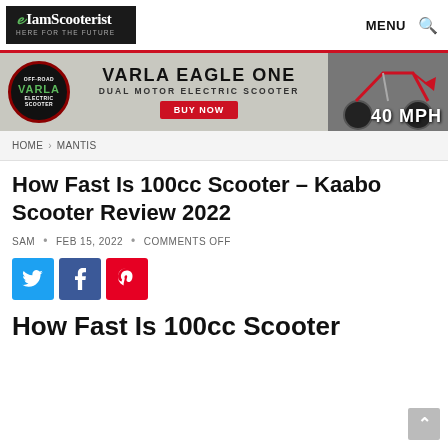IamScooterist - HERE FOR THE FUTURE | MENU
[Figure (photo): Varla Eagle One dual motor electric scooter advertisement banner showing 40 MPH]
HOME > MANTIS
How Fast Is 100cc Scooter – Kaabo Scooter Review 2022
SAM • FEB 15, 2022 • COMMENTS OFF
[Figure (infographic): Social share buttons: Twitter (blue), Facebook (dark blue), Pinterest (red)]
How Fast Is 100cc Scooter